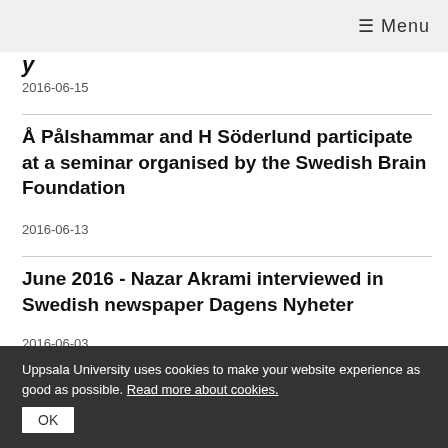≡ Menu
y
2016-06-15
Å Pålshammar and H Söderlund participate at a seminar organised by the Swedish Brain Foundation
2016-06-13
June 2016 - Nazar Akrami interviewed in Swedish newspaper Dagens Nyheter
2016-06-03
Uppsala University uses cookies to make your website experience as good as possible. Read more about cookies. OK